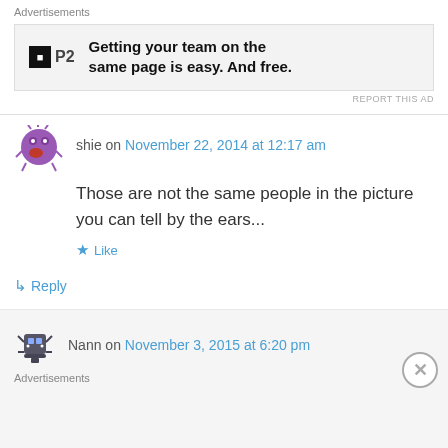Advertisements
[Figure (other): Advertisement banner for P2 with logo and text: Getting your team on the same page is easy. And free.]
REPORT THIS AD
shie on November 22, 2014 at 12:17 am
Those are not the same people in the picture you can tell by the ears...
Like
Reply
Nann on November 3, 2015 at 6:20 pm
Advertisements
REPORT THIS AD